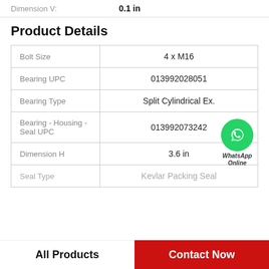Dimension V: 0.1 in
Product Details
|  |  |
| --- | --- |
| Bolt Size | 4 x M16 |
| Bearing UPC | 013992028051 |
| Bearing Type | Split Cylindrical Ex. |
| Bearing - Housing - Seal UPC | 013992073242 |
| Dimension H | 3.6 in |
| Seal Type | Kevlar Packing Seal |
All Products
Contact Now